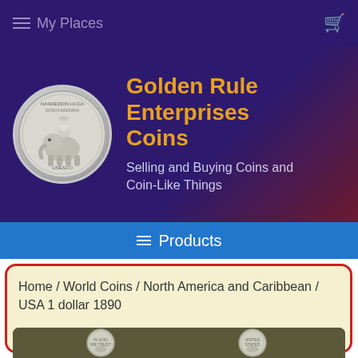≡ My Places
Golden Rule Enterprises Coins
Selling and Buying Coins and Coin-Like Things
≡  Products
Home / World Coins / North America and Caribbean / USA 1 dollar 1890
[Figure (photo): Two silver coins (USA 1 dollar 1890) shown side by side on a dark olive background — obverse showing Liberty and reverse showing eagle.]